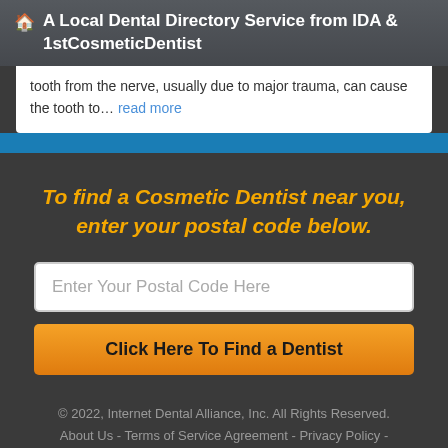🏠 A Local Dental Directory Service from IDA & 1stCosmeticDentist
tooth from the nerve, usually due to major trauma, can cause the tooth to... read more
To find a Cosmetic Dentist near you, enter your postal code below.
Enter Your Postal Code Here
Click Here To Find a Dentist
© 2022, Internet Dental Alliance, Inc. All Rights Reserved. About Us - Terms of Service Agreement - Privacy Policy - Accessibility Statement - Doctor Registration